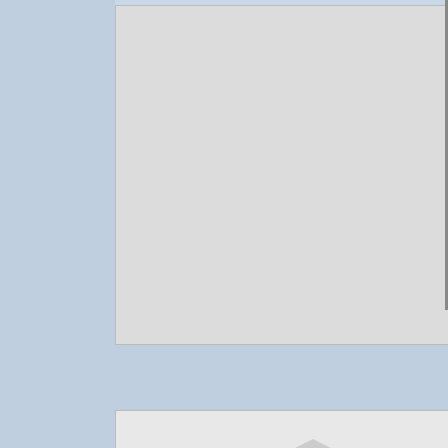[Figure (screenshot): Screenshot of Windows taskbar and start menu with dark theme, showing Windows Settings menu items including Settings, Info, Run, Computer, Network, Exit]
[Figure (screenshot): Gray placeholder rectangle (likely an image/avatar area)]
Reply #14    May 3, 2022 11:34:1
[Figure (illustration): Avatar icon: red and black X cross symbol]
1nsomn1ac
Join Date 04/2005
+63
Quoting Urban1, reply 11 ➡
does it have a name?
it's a mod of azenis2 with a few scrollbar, i call it azenis12, #12
just a random skin, why so seri